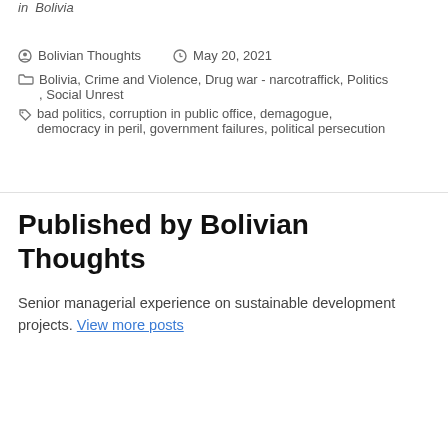in  Bolivia
Bolivian Thoughts   May 20, 2021
Bolivia, Crime and Violence, Drug war - narcotraffick, Politics, Social Unrest
bad politics, corruption in public office, demagogue, democracy in peril, government failures, political persecution
Published by Bolivian Thoughts
Senior managerial experience on sustainable development projects. View more posts